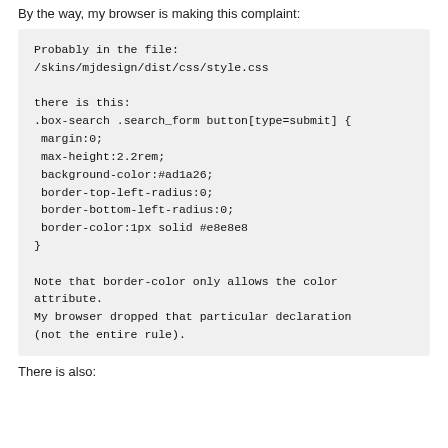By the way, my browser is making this complaint:
Probably in the file:
/skins/mjdesign/dist/css/style.css

there is this:
.box-search .search_form button[type=submit] {
 margin:0;
 max-height:2.2rem;
 background-color:#ad1a26;
 border-top-left-radius:0;
 border-bottom-left-radius:0;
 border-color:1px solid #e8e8e8
}

Note that border-color only allows the color attribute.
My browser dropped that particular declaration
(not the entire rule).
There is also: